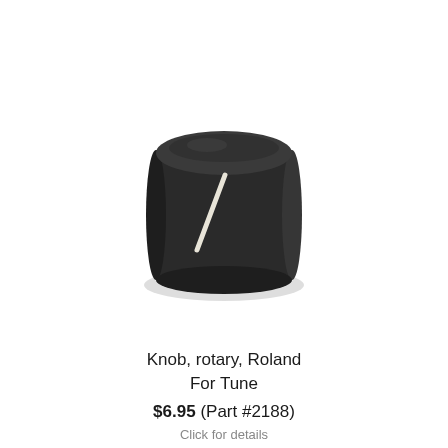[Figure (photo): A black cylindrical rotary knob with a white indicator line on its surface, photographed on a white background with a soft shadow beneath it.]
Knob, rotary, Roland
For Tune
$6.95 (Part #2188)
Click for details